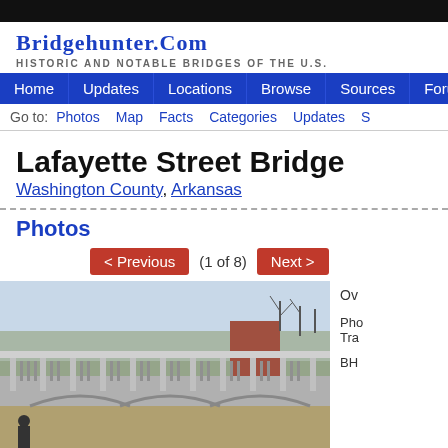BRIDGEHUNTER.COM
HISTORIC AND NOTABLE BRIDGES OF THE U.S.
Home | Updates | Locations | Browse | Sources | Forum | Ab...
Go to: Photos  Map  Facts  Categories  Updates  S...
Lafayette Street Bridge
Washington County, Arkansas
Photos
< Previous  (1 of 8)  Next >
[Figure (photo): Overhead view of the Lafayette Street Bridge showing concrete railing/balustrade, with trees and buildings visible in background]
Ov...
Pho... Tra...
BH...